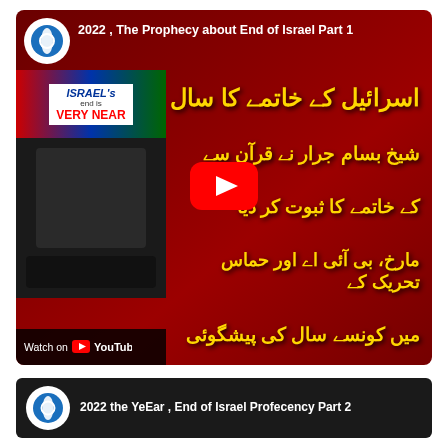[Figure (screenshot): YouTube video thumbnail showing '2022, The Prophecy about End of Israel Part 1' with Urdu text on dark red background and two speakers visible on left side]
[Figure (screenshot): YouTube video thumbnail showing '2022 the YeEar, End of Israel Profecency Part 2' with channel logo on dark background]